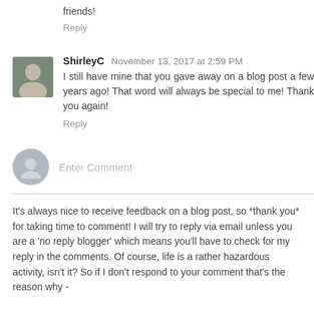friends!
Reply
ShirleyC November 13, 2017 at 2:59 PM
I still have mine that you gave away on a blog post a few years ago! That word will always be special to me! Thank you again!
Reply
[Figure (other): Enter Comment input field with user avatar placeholder]
It's always nice to receive feedback on a blog post, so *thank you* for taking time to comment! I will try to reply via email unless you are a 'no reply blogger' which means you'll have to check for my reply in the comments. Of course, life is a rather hazardous activity, isn't it? So if I don't respond to your comment that's the reason why -